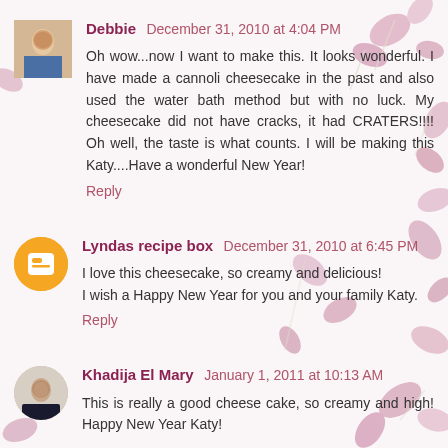[Figure (photo): Background with pink/mauve tulip petals scattered on white surface]
Debbie December 31, 2010 at 4:04 PM
Oh wow...now I want to make this. It looks wonderful. I have made a cannoli cheesecake in the past and also used the water bath method but with no luck. My cheesecake did not have cracks, it had CRATERS!!!! Oh well, the taste is what counts. I will be making this Katy....Have a wonderful New Year!
Reply
Lyndas recipe box December 31, 2010 at 6:45 PM
I love this cheesecake, so creamy and delicious!
I wish a Happy New Year for you and your family Katy.
Reply
Khadija El Mary January 1, 2011 at 10:13 AM
This is really a good cheese cake, so creamy and high! Happy New Year Katy!